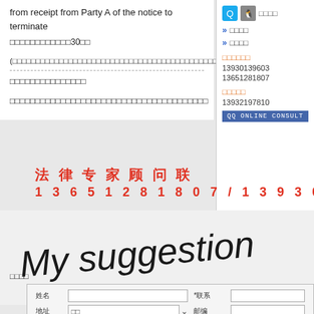from receipt from Party A of the notice to terminate
□□□□□□□□□□□□30□□
(□□□□□□□□□□□□□□□□□□□□□□□□□□□□□□□□□□□□□□□□□□□□□□□□□□□□□□□□□□□□□□□□□□□□□□□□□□□□□□□□□□□□□□□□□□□□□□□□□□□□□□□□□□□□□□□□□□□□□□□□□□□□□□□□□□□□□□□□□□□□□□□□□□□□□□□□□□□□□□□□□□□□□□□□□□□□□□□□□□□□□□□
□□□□□□□□□□□□□□□
□□□□□□□□□□□□□□□□□□□□□□□□□□□□□□□□□□□□□□□
法律专家顾问联
13651281807/13930139
[Figure (illustration): Handwritten text reading 'My suggestion' in cursive/italic style]
□□□□
| 姓名 |  | *联系 |  |
| --- | --- | --- | --- |
| 地址 | □□ | 邮编 |  |